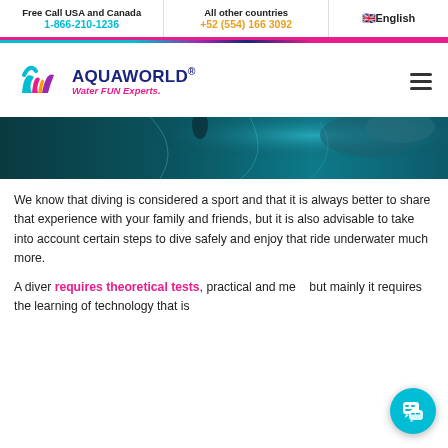Free Call USA and Canada 1-866-210-1236 | All other countries +52 (554) 166 3092 | English
[Figure (logo): Aquaworld logo with colorful W emblem and text: AQUAWORLD. Water FUN Experts.]
[Figure (photo): Underwater diving scene with dark teal water and light caustics]
We know that diving is considered a sport and that it is always better to share that experience with your family and friends, but it is also advisable to take into account certain steps to dive safely and enjoy that ride underwater much more.
A diver requires theoretical tests, practical and medical tests, but mainly it requires the learning of technology that is